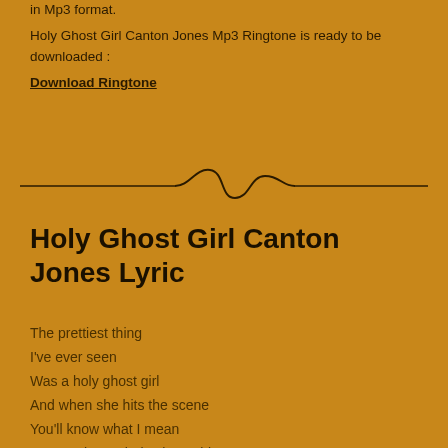in Mp3 format.
Holy Ghost Girl Canton Jones Mp3 Ringtone is ready to be downloaded :
Download Ringtone
[Figure (illustration): Decorative divider with wavy line and horizontal rules]
Holy Ghost Girl Canton Jones Lyric
The prettiest thing
I've ever seen
Was a holy ghost girl
And when she hits the scene
You'll know what I mean
'Cause she's a holy ghost girl
The prettiest
Most whittiest